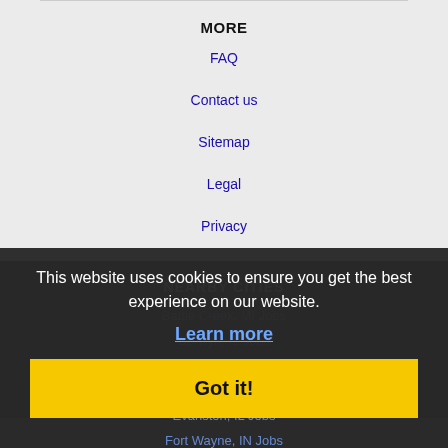MORE
FAQ
Contact us
Sitemap
Legal
Privacy
NEARBY CITIES
Battle Creek, MI Jobs
Berwyn, IL Jobs
Chicago, IL Jobs
Cicero, IL Jobs
Evanston, IL Jobs
Fort Wayne, IN Jobs
Gary, IN Jobs
Glenview, IL Jobs
This website uses cookies to ensure you get the best experience on our website.
Learn more
Got it!